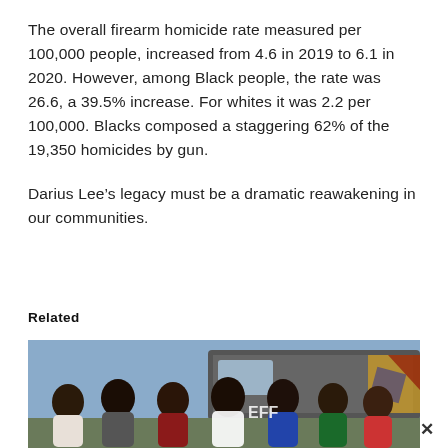The overall firearm homicide rate measured per 100,000 people, increased from 4.6 in 2019 to 6.1 in 2020. However, among Black people, the rate was 26.6, a 39.5% increase. For whites it was 2.2 per 100,000. Blacks composed a staggering 62% of the 19,350 homicides by gun.

Darius Lee’s legacy must be a dramatic reawakening in our communities.
Related
[Figure (photo): A group of people standing outdoors in front of a van with colorful graphics, appearing to be at a community event.]